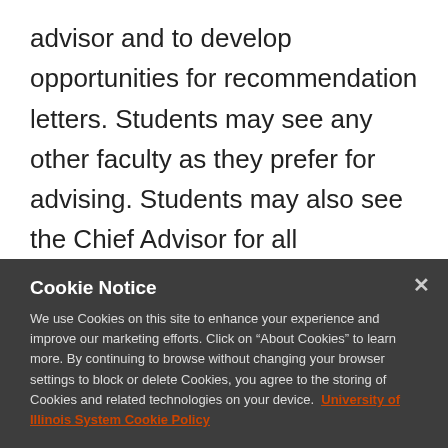advisor and to develop opportunities for recommendation letters. Students may see any other faculty as they prefer for advising. Students may also see the Chief Advisor for all problems. However, students should always make a plan themselves before seeing an advisor. Remember, it is your degree and your life. Take the lead!
Cookie Notice
We use Cookies on this site to enhance your experience and improve our marketing efforts. Click on “About Cookies” to learn more. By continuing to browse without changing your browser settings to block or delete Cookies, you agree to the storing of Cookies and related technologies on your device. University of Illinois System Cookie Policy